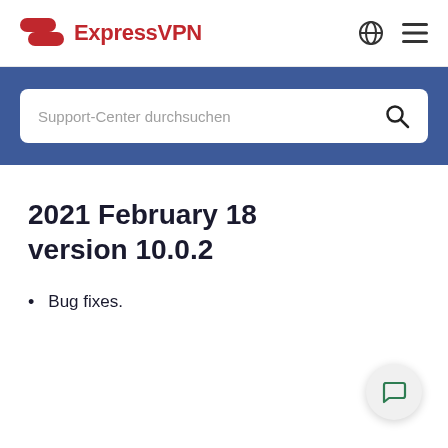ExpressVPN
Support-Center durchsuchen
2021 February 18 version 10.0.2
Bug fixes.